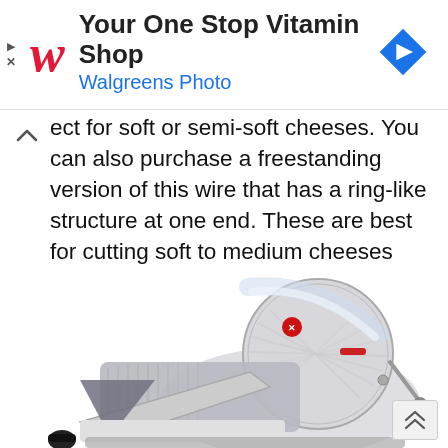[Figure (screenshot): Walgreens ad banner: Walgreens cursive logo in red on left, heading 'Your One Stop Vitamin Shop' in bold dark text, subheading 'Walgreens Photo' in blue, blue navigation arrow diamond icon on right. Small play and close controls on far left.]
ect for soft or semi-soft cheeses. You can also purchase a freestanding version of this wire that has a ring-like structure at one end. These are best for cutting soft to medium cheeses and are usually the cheapest options.
[Figure (photo): A silver/grey commercial food slicer (deli slicer) photographed on a white background. The machine has a large circular ribbed blade on the right, a slanted food carriage on the left with a grey tray, a red safety label/sticker on the blade guard, a red indicator stripe, and a metal hand-crank on the right side.]